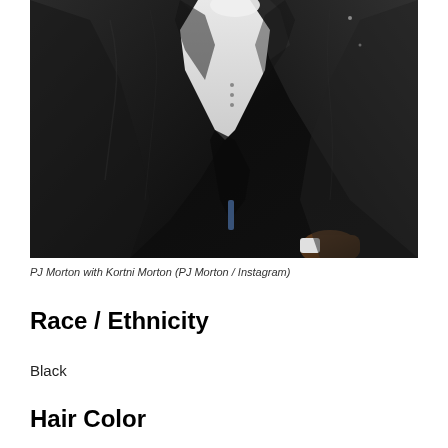[Figure (photo): A person wearing a black tuxedo/suit with a white dress shirt visible at the collar, photographed from chest/torso area. The image is dark with the black jacket dominating the frame.]
PJ Morton with Kortni Morton (PJ Morton / Instagram)
Race / Ethnicity
Black
Hair Color